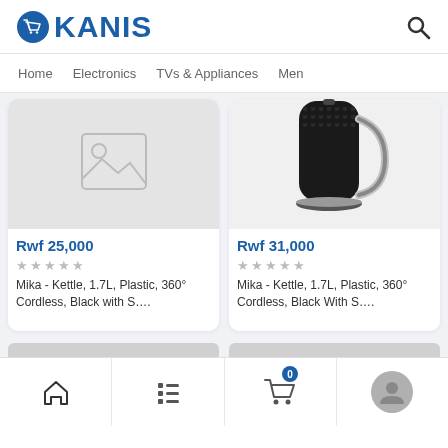OKANIS
Home   Electronics   TVs & Appliances   Men
[Figure (screenshot): Product listing page showing two kettle products with prices Rwf 25,000 and Rwf 31,000]
Rwf 25,000
★★★★★
Mika - Kettle, 1.7L, Plastic, 360° Cordless, Black with S....
Rwf 31,000
★★★★★
Mika - Kettle, 1.7L, Plastic, 360° Cordless, Black With S....
Home | List | Cart (0) | Profile